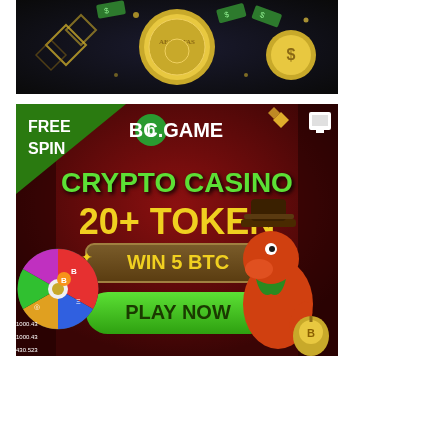[Figure (illustration): Dark background advertisement banner with gold coins, dollar bills flying, diamond/crystal shapes, and a gold coin with 'AEQUITAS' inscription. Dark themed crypto/finance promotional banner.]
[Figure (illustration): BC.GAME crypto casino advertisement. Dark red background with cartoon dinosaur character wearing cowboy hat holding a bag of Bitcoin. Colorful spin wheel on left side with crypto tokens. Text reads: FREE SPIN, BC.GAME logo, CRYPTO CASINO, 20+ TOKEN, WIN 5 BTC, PLAY NOW button in green. Small monitor icon in top right corner.]